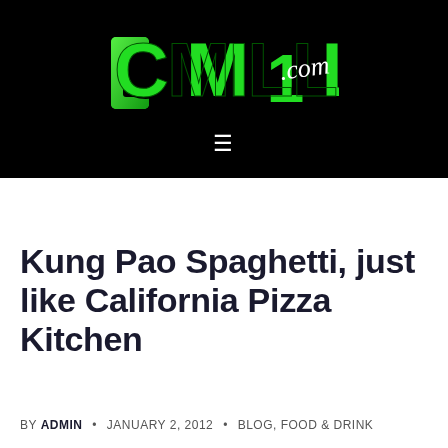[Figure (logo): CMilli.com website logo — stylized green block letters 'CMILLI' with '.com' in white script, on black background]
Kung Pao Spaghetti, just like California Pizza Kitchen
BY ADMIN • JANUARY 2, 2012 • BLOG, FOOD & DRINK